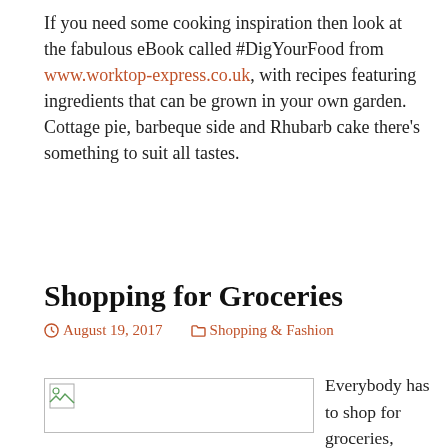If you need some cooking inspiration then look at the fabulous eBook called #DigYourFood from www.worktop-express.co.uk, with recipes featuring ingredients that can be grown in your own garden. Cottage pie, barbeque side and Rhubarb cake there's something to suit all tastes.
Shopping for Groceries
August 19, 2017   Shopping & Fashion
[Figure (other): Broken image placeholder thumbnail]
Everybody has to shop for groceries, because without shopping for them we would